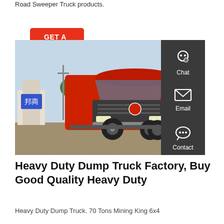Road Sweeper Truck products.
[Figure (other): Red 'GET A QUOTE' button with rounded corners on white background]
[Figure (photo): A large red heavy duty dump truck / tractor unit (Sinotruk HOWO brand) parked in a yard, front three-quarter view, with Chinese signage and trees visible in background. A dark sidebar with Chat, Email, and Contact icons overlaps the right edge of the photo.]
Heavy Duty Dump Truck Factory, Buy Good Quality Heavy Duty
Heavy Duty Dump Truck. 70 Tons Mining King 6x4